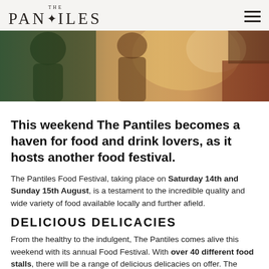THE PANTILES
[Figure (photo): Hero image showing people at an outdoor festival, warm sunlit tones with figures in colourful clothing]
This weekend The Pantiles becomes a haven for food and drink lovers, as it hosts another food festival.
The Pantiles Food Festival, taking place on Saturday 14th and Sunday 15th August, is a testament to the incredible quality and wide variety of food available locally and further afield.
DELICIOUS DELICACIES
From the healthy to the indulgent, The Pantiles comes alive this weekend with its annual Food Festival. With over 40 different food stalls, there will be a range of delicious delicacies on offer. The culinary festival is designed to